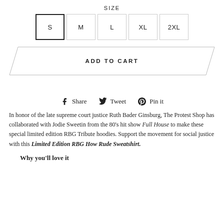SIZE
[Figure (other): Size selector with options S (selected), M, L, XL, 2XL displayed as bordered boxes]
[Figure (other): Add to Cart parallelogram-shaped button]
Share  Tweet  Pin it
In honor of the late supreme court justice Ruth Bader Ginsburg, The Protest Shop has collaborated with Jodie Sweetin from the 80's hit show Full House to make these special limited edition RBG Tribute hoodies. Support the movement for social justice with this Limited Edition RBG How Rude Sweatshirt.
Why you'll love it